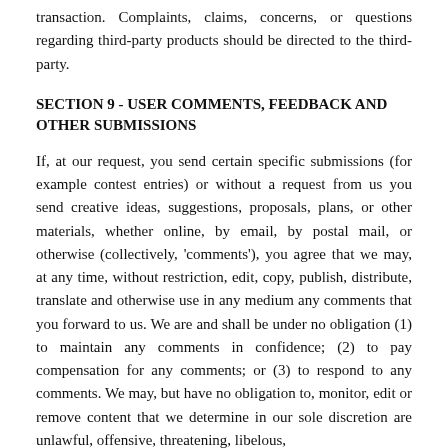transaction. Complaints, claims, concerns, or questions regarding third-party products should be directed to the third-party.
SECTION 9 - USER COMMENTS, FEEDBACK AND OTHER SUBMISSIONS
If, at our request, you send certain specific submissions (for example contest entries) or without a request from us you send creative ideas, suggestions, proposals, plans, or other materials, whether online, by email, by postal mail, or otherwise (collectively, 'comments'), you agree that we may, at any time, without restriction, edit, copy, publish, distribute, translate and otherwise use in any medium any comments that you forward to us. We are and shall be under no obligation (1) to maintain any comments in confidence; (2) to pay compensation for any comments; or (3) to respond to any comments. We may, but have no obligation to, monitor, edit or remove content that we determine in our sole discretion are unlawful, offensive, threatening, libelous,